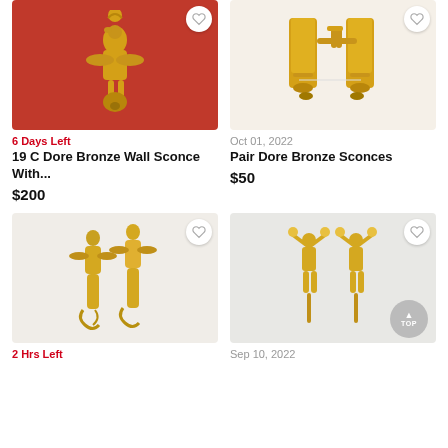[Figure (photo): Brass/gold cherub figurine wall sconce on red background with heart/favorite button]
6 Days Left
19 C Dore Bronze Wall Sconce With...
$200
[Figure (photo): Pair of gold/brass wall sconce candle holders on white background with heart/favorite button]
Oct 01, 2022
Pair Dore Bronze Sconces
$50
[Figure (photo): Two gold ornate figurine candle holders on white background with heart/favorite button]
2 Hrs Left
[Figure (photo): Pair of gold angel/cherub wall sconces on white door with heart/favorite button and TOP button]
Sep 10, 2022